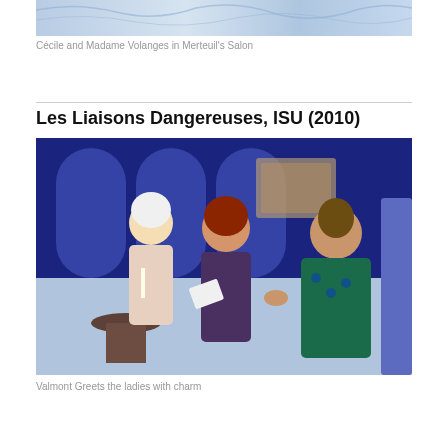[Figure (photo): Top portion of a theater stage photo showing blue-themed salon set with painted backdrop, partially cropped]
Cécile and Madame Volanges in Merteuil's Salon
Les Liaisons Dangereuses, ISU (2010)
[Figure (photo): Theater production photo showing costumed actors in 18th-century period dress. A woman with red hair in a purple corset gown holds playing cards at a table, a blonde woman in pink stands behind her, and a man in ornate peacock-patterned coat bows to kiss the red-haired woman's hand. Blue stage backdrop with arched panels.]
Valmont Greets the ladies with charm